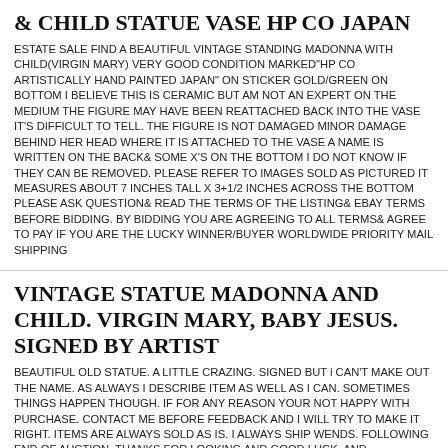& CHILD STATUE VASE HP CO JAPAN
ESTATE SALE FIND A BEAUTIFUL VINTAGE STANDING MADONNA WITH CHILD(VIRGIN MARY) VERY GOOD CONDITION MARKED"HP CO ARTISTICALLY HAND PAINTED JAPAN" ON STICKER GOLD/GREEN ON BOTTOM I BELIEVE THIS IS CERAMIC BUT AM NOT AN EXPERT ON THE MEDIUM THE FIGURE MAY HAVE BEEN REATTACHED BACK INTO THE VASE IT'S DIFFICULT TO TELL. THE FIGURE IS NOT DAMAGED MINOR DAMAGE BEHIND HER HEAD WHERE IT IS ATTACHED TO THE VASE A NAME IS WRITTEN ON THE BACK& SOME X'S ON THE BOTTOM I DO NOT KNOW IF THEY CAN BE REMOVED. PLEASE REFER TO IMAGES SOLD AS PICTURED IT MEASURES ABOUT 7 INCHES TALL X 3+1/2 INCHES ACROSS THE BOTTOM PLEASE ASK QUESTION& READ THE TERMS OF THE LISTING& EBAY TERMS BEFORE BIDDING. BY BIDDING YOU ARE AGREEING TO ALL TERMS& AGREE TO PAY IF YOU ARE THE LUCKY WINNER/BUYER WORLDWIDE PRIORITY MAIL SHIPPING
VINTAGE STATUE MADONNA AND CHILD. VIRGIN MARY, BABY JESUS. SIGNED BY ARTIST
BEAUTIFUL OLD STATUE. A LITTLE CRAZING. SIGNED BUT i CAN'T MAKE OUT THE NAME. AS ALWAYS I DESCRIBE ITEM AS WELL AS I CAN. SOMETIMES THINGS HAPPEN THOUGH. IF FOR ANY REASON YOUR NOT HAPPY WITH PURCHASE. CONTACT ME BEFORE FEEDBACK AND I WILL TRY TO MAKE IT RIGHT. ITEMS ARE ALWAYS SOLD AS IS. I ALWAYS SHIP WENDS. FOLLOWING END OF AUCTION. THANKS FOR LOOKING AND GOOD LUCK. AND